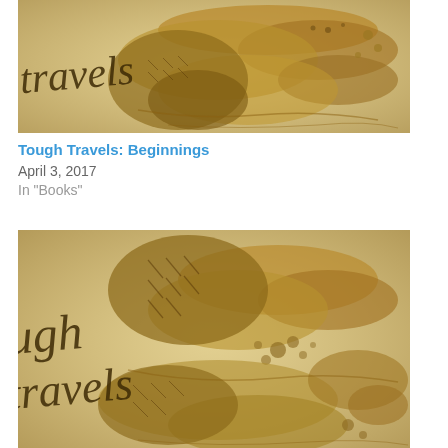[Figure (illustration): Fantasy-style hand-drawn antique map with cursive text reading 'travels' on the left side, showing continental landmasses in brown and sepia tones on aged parchment background]
Tough Travels: Beginnings
April 3, 2017
In "Books"
[Figure (illustration): Fantasy-style hand-drawn antique map with cursive text reading 'ugh travels' on the left side, showing continental landmasses in brown and sepia tones on aged parchment background, similar to the first image but cropped differently]
Tough Travels: Mentors
November 4, 2017